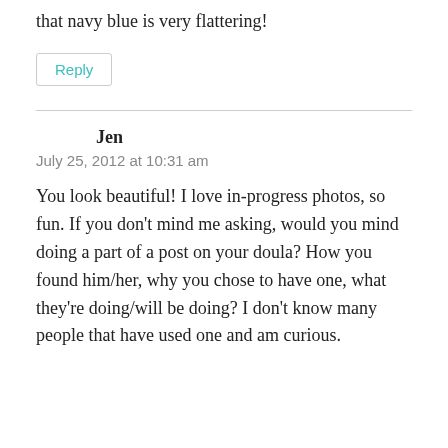that navy blue is very flattering!
Reply
Jen
July 25, 2012 at 10:31 am
You look beautiful! I love in-progress photos, so fun. If you don't mind me asking, would you mind doing a part of a post on your doula? How you found him/her, why you chose to have one, what they're doing/will be doing? I don't know many people that have used one and am curious.